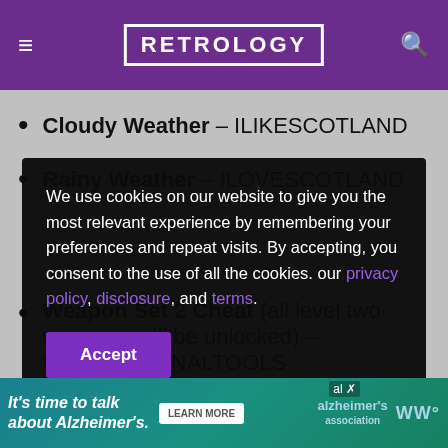RETROLOGY
Cloudy Weather – ILIKESCOTLAND
Rainy Weather – ILOVESCOTLAND
[Figure (screenshot): Cookie consent banner overlay with text: We use cookies on our website to give you the most relevant experience by remembering your preferences and repeat visits. By accepting, you consent to the use of all the cookies. our privacy policy, disclosure, and terms. With an Accept button.]
Weapon Set 2 Cheat (all level two weapons will be unlocked) – PROFESSIONALTOOLS
[Figure (screenshot): Advertisement banner: It's time to talk about Alzheimer's. LEARN MORE button, Alzheimer's association logo.]